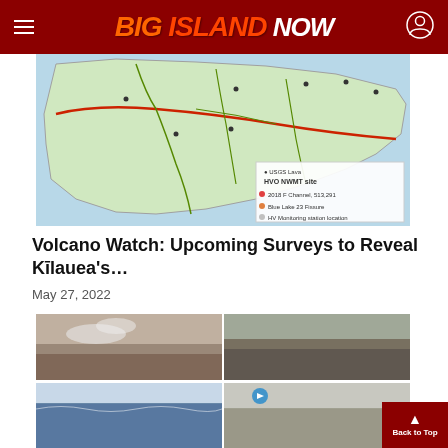Big Island Now
[Figure (map): Map of Kilauea area on Big Island showing lava flow zones and roads with legend]
Volcano Watch: Upcoming Surveys to Reveal Kīlauea's…
May 27, 2022
[Figure (photo): Four-photo grid showing volcanic landscape and coastal scenes near Kilauea]